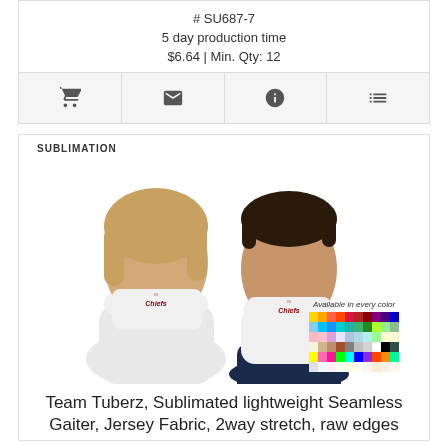# SU687-7
5 day production time
$6.64 | Min. Qty: 12
[Figure (photo): Two people (a woman and a man) wearing white sublimated neck gaiters/face coverings with a Chiefs-style logo. Below the photo is a color swatch palette labeled 'Available in every color'.]
Team Tuberz, Sublimated lightweight Seamless Gaiter, Jersey Fabric, 2way stretch, raw edges